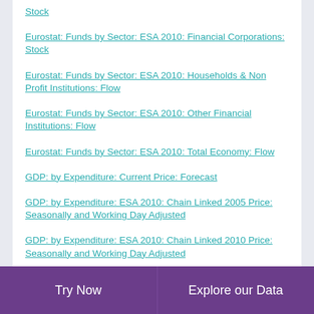Stock
Eurostat: Funds by Sector: ESA 2010: Financial Corporations: Stock
Eurostat: Funds by Sector: ESA 2010: Households & Non Profit Institutions: Flow
Eurostat: Funds by Sector: ESA 2010: Other Financial Institutions: Flow
Eurostat: Funds by Sector: ESA 2010: Total Economy: Flow
GDP: by Expenditure: Current Price: Forecast
GDP: by Expenditure: ESA 2010: Chain Linked 2005 Price: Seasonally and Working Day Adjusted
GDP: by Expenditure: ESA 2010: Chain Linked 2010 Price: Seasonally and Working Day Adjusted
GDP: by Expenditure: ESA 2010: Current Price
GDP: by Income: Current Price: Forecast
Try Now    Explore our Data